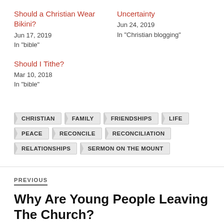Should a Christian Wear Bikini?
Jun 17, 2019
In "bible"
Uncertainty
Jun 24, 2019
In "Christian blogging"
Should I Tithe?
Mar 10, 2018
In "bible"
CHRISTIAN
FAMILY
FRIENDSHIPS
LIFE
PEACE
RECONCILE
RECONCILIATION
RELATIONSHIPS
SERMON ON THE MOUNT
PREVIOUS
Why Are Young People Leaving The Church?